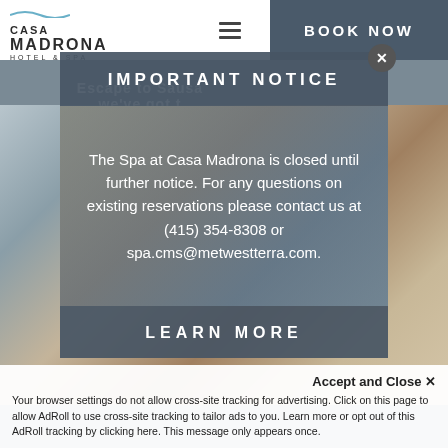[Figure (screenshot): Casa Madrona Hotel & Spa website screenshot with navigation header showing logo, hamburger menu, and BOOK NOW button. Background shows hotel room interior photo. A modal dialog overlays the page with IMPORTANT NOTICE about spa closure. Cookie consent bar at bottom.]
CASA MADRONA HOTEL & SPA | BOOK NOW
Escape to Sausa... we've got t...
IMPORTANT NOTICE
The Spa at Casa Madrona is closed until further notice. For any questions on existing reservations please contact us at (415) 354-8308 or spa.cms@metwestterra.com.
LEARN MORE
Accept and Close ✕
Your browser settings do not allow cross-site tracking for advertising. Click on this page to allow AdRoll to use cross-site tracking to tailor ads to you. Learn more or opt out of this AdRoll tracking by clicking here. This message only appears once.